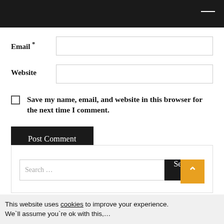Email *
Website
Save my name, email, and website in this browser for the next time I comment.
Post Comment
Search ...
Search
This website uses cookies to improve your experience. We`ll assume you`re ok with this,...